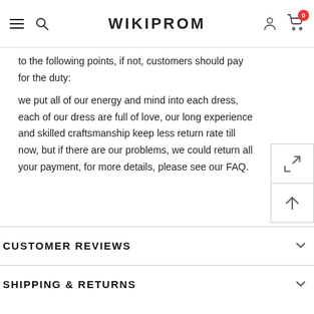WIKIPROM
to the following points, if not, customers should pay for the duty:
we put all of our energy and mind into each dress, each of our dress are full of love, our long experience and skilled craftsmanship keep less return rate till now, but if there are our problems, we could return all your payment, for more details, please see our FAQ.
CUSTOMER REVIEWS
SHIPPING & RETURNS